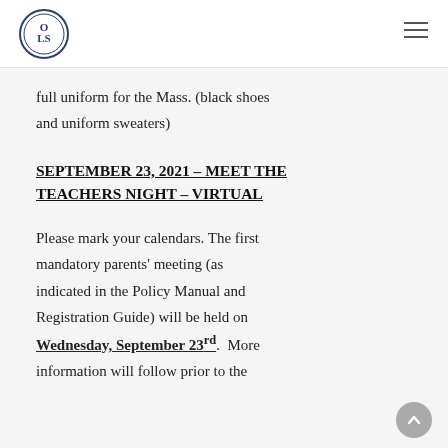OLS school logo and navigation
full uniform for the Mass. (black shoes and uniform sweaters)
SEPTEMBER 23, 2021 – MEET THE TEACHERS NIGHT – VIRTUAL
Please mark your calendars. The first mandatory parents' meeting (as indicated in the Policy Manual and Registration Guide) will be held on Wednesday, September 23rd.  More information will follow prior to the